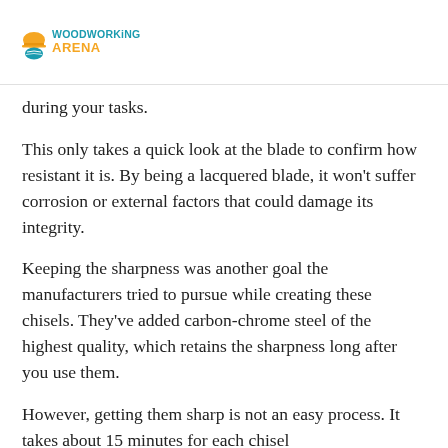[Figure (logo): Woodworking Arena logo with orange hard hat icon and teal/orange text]
during your tasks.
This only takes a quick look at the blade to confirm how resistant it is. By being a lacquered blade, it won't suffer corrosion or external factors that could damage its integrity.
Keeping the sharpness was another goal the manufacturers tried to pursue while creating these chisels. They've added carbon-chrome steel of the highest quality, which retains the sharpness long after you use them.
However, getting them sharp is not an easy process. It takes about 15 minutes for each chisel